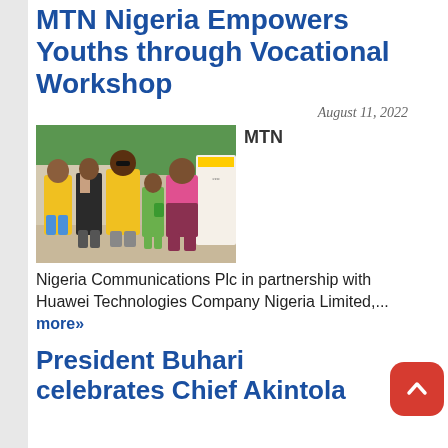MTN Nigeria Empowers Youths through Vocational Workshop
August 11, 2022
[Figure (photo): Group photo of five people standing outdoors at an MTN Nigeria vocational workshop event. Two people wear yellow MTN branded shirts, one person wears a black suit, one wears a pink blazer with patterned skirt, and a girl in the center holds a green item. An MTN branded banner is visible in the background.]
MTN
Nigeria Communications Plc in partnership with Huawei Technologies Company Nigeria Limited,... more»
President Buhari celebrates Chief Akintola